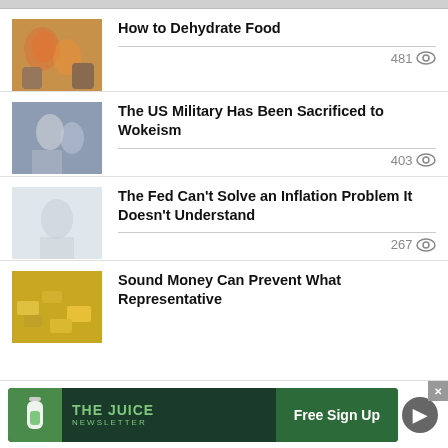How to Dehydrate Food
The US Military Has Been Sacrificed to Wokeism
The Fed Can't Solve an Inflation Problem It Doesn't Understand
Sound Money Can Prevent What Representative [Democracy Cannot...]
[Figure (screenshot): Advertisement banner for 'The Juice Newsletter' with a Free Sign Up button]